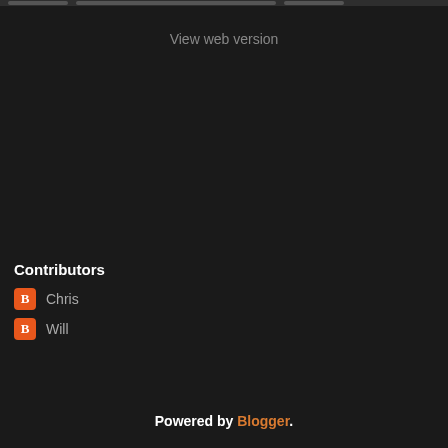View web version
Contributors
Chris
Will
Powered by Blogger.